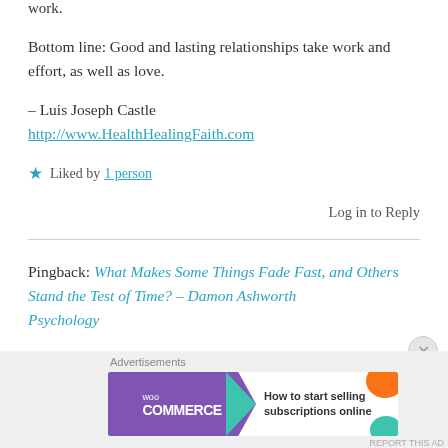work.
Bottom line: Good and lasting relationships take work and effort, as well as love.
– Luis Joseph Castle
http://www.HealthHealingFaith.com
Liked by 1 person
Log in to Reply
Pingback: What Makes Some Things Fade Fast, and Others Stand the Test of Time? – Damon Ashworth Psychology
[Figure (screenshot): WooCommerce advertisement banner: purple background with WooCommerce logo, teal arrow, text 'How to start selling subscriptions online', orange and teal decorative shapes]